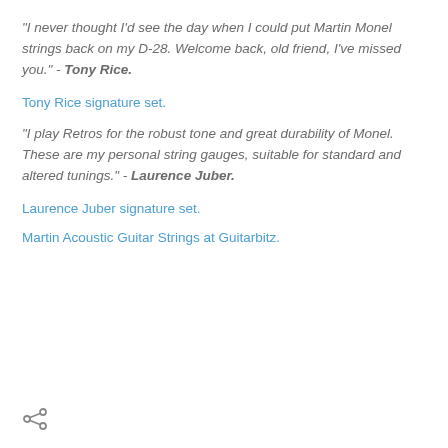"I never thought I'd see the day when I could put Martin Monel strings back on my D-28. Welcome back, old friend, I've missed you." - Tony Rice.
Tony Rice signature set.
"I play Retros for the robust tone and great durability of Monel. These are my personal string gauges, suitable for standard and altered tunings." - Laurence Juber.
Laurence Juber signature set.
Martin Acoustic Guitar Strings at Guitarbitz.